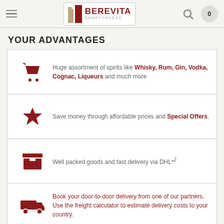BEREVITA SHOPFORLESS
YOUR ADVANTAGES
Huge assortment of spirits like Whisky, Rum, Gin, Vodka, Cognac, Liqueurs and much more
Save money through affordable prices and Special Offers.
Well packed goods and fast delivery via DHL*2
Book your door-to-door delivery from one of our partners. Use the freight calculator to estimate delivery costs to your country.
GUARANTEED SATISFACTION